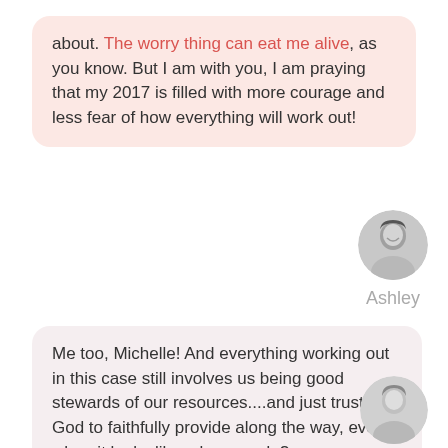about. The worry thing can eat me alive, as you know. But I am with you, I am praying that my 2017 is filled with more courage and less fear of how everything will work out!
[Figure (photo): Circular black and white portrait photo of a smiling woman with dark hair]
Ashley
Me too, Michelle! And everything working out in this case still involves us being good stewards of our resources....and just trusting God to faithfully provide along the way, even when it looks like a long road. ?
[Figure (photo): Circular black and white portrait photo of a smiling woman with lighter hair]